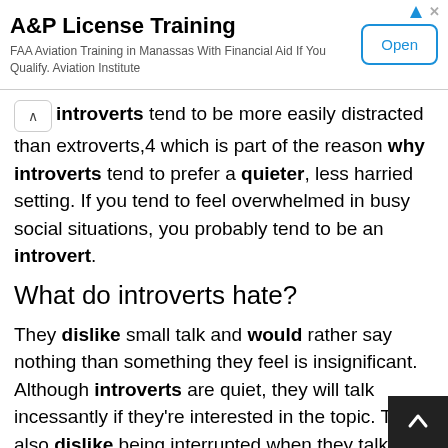[Figure (other): Advertisement banner for A&P License Training. Title: 'A&P License Training'. Description: 'FAA Aviation Training in Manassas With Financial Aid If You Qualify. Aviation Institute'. Button labeled 'Open'.]
introverts tend to be more easily distracted than extroverts,4 which is part of the reason why introverts tend to prefer a quieter, less harried setting. If you tend to feel overwhelmed in busy social situations, you probably tend to be an introvert.
What do introverts hate?
They dislike small talk and would rather say nothing than something they feel is insignificant. Although introverts are quiet, they will talk incessantly if they're interested in the topic. They also dislike being interrupted when they talk, or when they're working on some project.